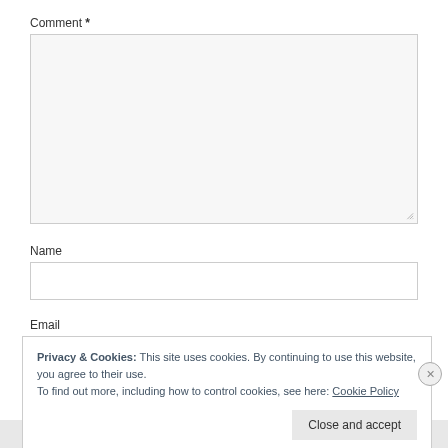Comment *
[Figure (other): Empty comment textarea input box with resize handle in bottom-right corner]
Name
[Figure (other): Empty name text input field]
Email
Privacy & Cookies: This site uses cookies. By continuing to use this website, you agree to their use.
To find out more, including how to control cookies, see here: Cookie Policy
Close and accept